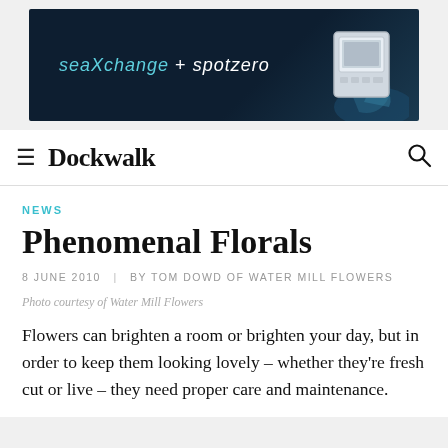[Figure (photo): Advertisement banner for SeaXchange + SpotZero featuring dark navy background with product device image on the right showing water/splash effect]
≡  Dockwalk
NEWS
Phenomenal Florals
8 JUNE 2010  |  BY TOM DOWD OF WATER MILL FLOWERS
Photo courtesy of Water Mill Flowers
Flowers can brighten a room or brighten your day, but in order to keep them looking lovely – whether they're fresh cut or live – they need proper care and maintenance.